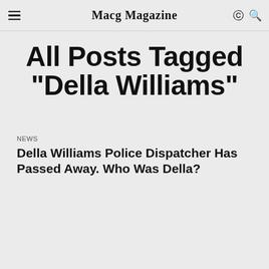Macg Magazine
All Posts Tagged "Della Williams"
NEWS
Della Williams Police Dispatcher Has Passed Away. Who Was Della?